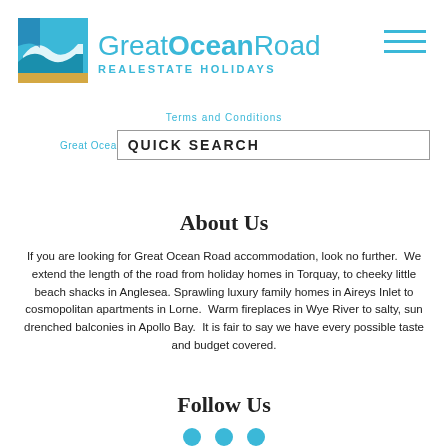[Figure (logo): Great Ocean Road Real Estate Holidays logo with wave/beach icon and teal text]
Terms and Conditions
Great Ocea  QUICK SEARCH
About Us
If you are looking for Great Ocean Road accommodation, look no further. We extend the length of the road from holiday homes in Torquay, to cheeky little beach shacks in Anglesea. Sprawling luxury family homes in Aireys Inlet to cosmopolitan apartments in Lorne. Warm fireplaces in Wye River to salty, sun drenched balconies in Apollo Bay. It is fair to say we have every possible taste and budget covered.
Follow Us